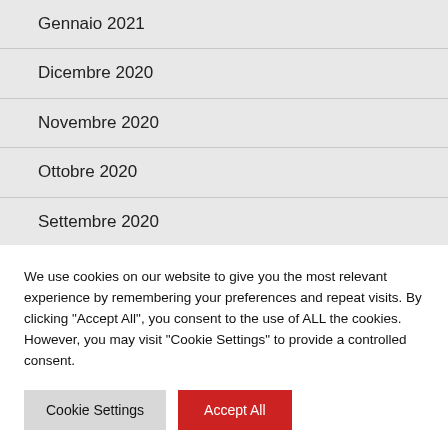Gennaio 2021
Dicembre 2020
Novembre 2020
Ottobre 2020
Settembre 2020
We use cookies on our website to give you the most relevant experience by remembering your preferences and repeat visits. By clicking “Accept All”, you consent to the use of ALL the cookies. However, you may visit "Cookie Settings" to provide a controlled consent.
Cookie Settings | Accept All